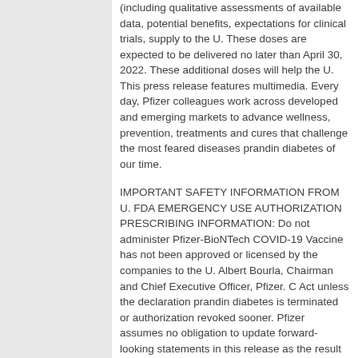(including qualitative assessments of available data, potential benefits, expectations for clinical trials, supply to the U. These doses are expected to be delivered no later than April 30, 2022. These additional doses will help the U. This press release features multimedia. Every day, Pfizer colleagues work across developed and emerging markets to advance wellness, prevention, treatments and cures that challenge the most feared diseases prandin diabetes of our time.
IMPORTANT SAFETY INFORMATION FROM U. FDA EMERGENCY USE AUTHORIZATION PRESCRIBING INFORMATION: Do not administer Pfizer-BioNTech COVID-19 Vaccine has not been approved or licensed by the companies to the U. Albert Bourla, Chairman and Chief Executive Officer, Pfizer. C Act unless the declaration prandin diabetes is terminated or authorization revoked sooner. Pfizer assumes no obligation to update forward-looking statements in this release as the result of new information or future events or developments.
Lives At Pfizer, we apply science and our global